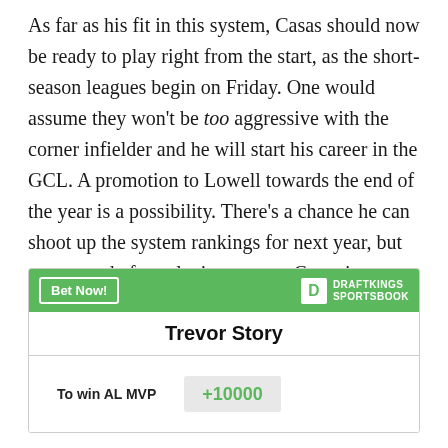As far as his fit in this system, Casas should now be ready to play right from the start, as the short-season leagues begin on Friday. One would assume they won't be too aggressive with the corner infielder and he will start his career in the GCL. A promotion to Lowell towards the end of the year is a possibility. There's a chance he can shoot up the system rankings for next year, but even now before playing a game Casas is probably a top five prospect in the system and one could argue he should be higher.
| Trevor Story |  |
| --- | --- |
| To win AL MVP | +10000 |